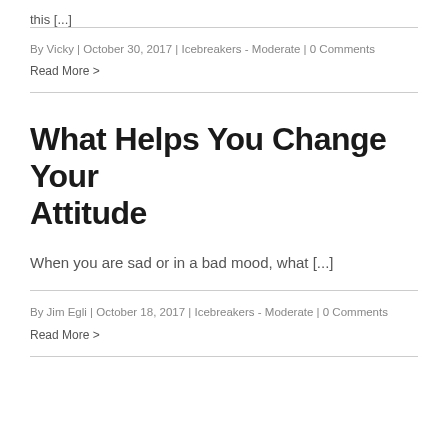this [...]
By Vicky | October 30, 2017 | Icebreakers - Moderate | 0 Comments
Read More >
What Helps You Change Your Attitude
When you are sad or in a bad mood, what [...]
By Jim Egli | October 18, 2017 | Icebreakers - Moderate | 0 Comments
Read More >